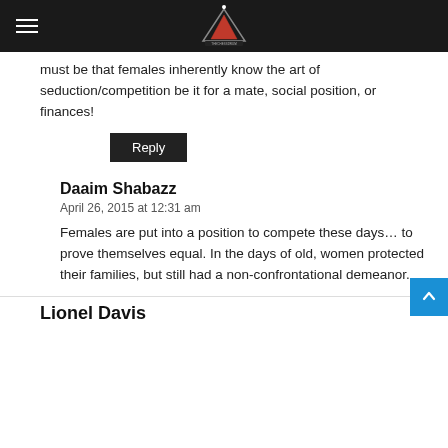[site logo and navigation]
must be that females inherently know the art of seduction/competition be it for a mate, social position, or finances!
Reply
Daaim Shabazz
April 26, 2015 at 12:31 am
Females are put into a position to compete these days… to prove themselves equal. In the days of old, women protected their families, but still had a non-confrontational demeanor.
Lionel Davis